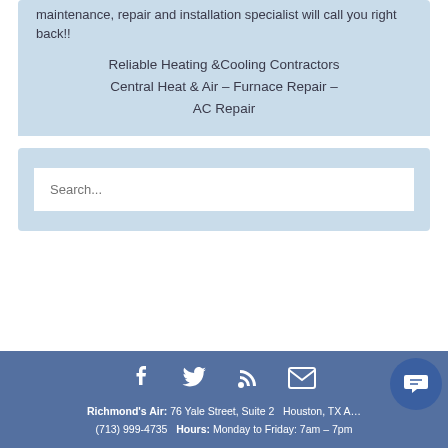maintenance, repair and installation specialist will call you right back!!
Reliable Heating &Cooling Contractors
Central Heat & Air – Furnace Repair –
AC Repair
[Figure (screenshot): Search input box with placeholder text 'Search...']
Richmond's Air: 76 Yale Street, Suite 2   Houston, TX A...  (713) 999-4735   Hours: Monday to Friday: 7am – 7pm